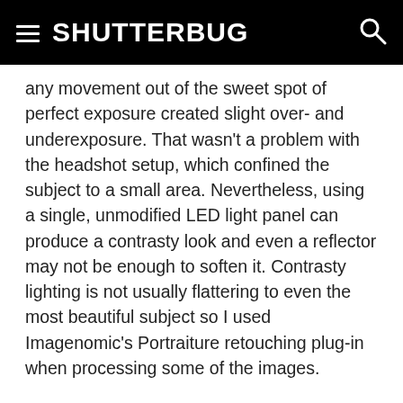SHUTTERBUG
any movement out of the sweet spot of perfect exposure created slight over- and underexposure. That wasn't a problem with the headshot setup, which confined the subject to a small area. Nevertheless, using a single, unmodified LED light panel can produce a contrasty look and even a reflector may not be enough to soften it. Contrasty lighting is not usually flattering to even the most beautiful subject so I used Imagenomic's Portraiture retouching plug-in when processing some of the images.
For the Honey West hapkido outfit I placed the Daylight Mosaic as the main light at camera left and the Bi-Color Mosaic behind the subject acting as a